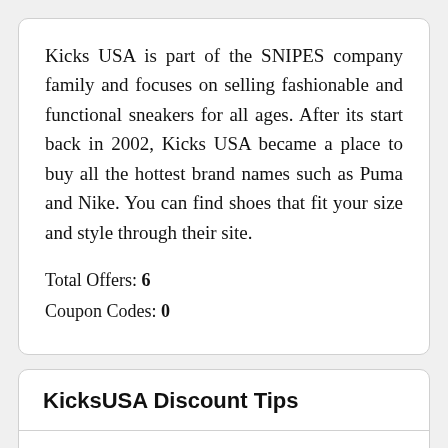Kicks USA is part of the SNIPES company family and focuses on selling fashionable and functional sneakers for all ages. After its start back in 2002, Kicks USA became a place to buy all the hottest brand names such as Puma and Nike. You can find shoes that fit your size and style through their site.
Total Offers: 6
Coupon Codes: 0
KicksUSA Discount Tips
Save on Kicks USA men's shoes, women's shoes and children's shoes when you use these tricks and tips as you shop online. You'll get great Kicks USA deals on sneakers, boots, branded clothing and other styles.